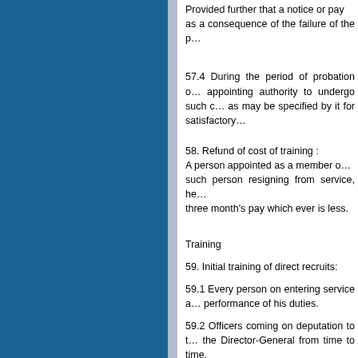Provided further that a notice or pay as a consequence of the failure of the p...
57.4 During the period of probation o... appointing authority to undergo such c... as may be specified by it for satisfactory...
58. Refund of cost of training :
A person appointed as a member of... such person resigning from service, he... three month's pay which ever is less.
Training
59. Initial training of direct recruits:
59.1 Every person on entering service a... performance of his duties.
59.2 Officers coming on deputation to t... the Director-General from time to time.
59.3 Deputation of subordinate ranks m... or in any other Zonal Training Institu... concerned.
60. Standard of training and syllabus: